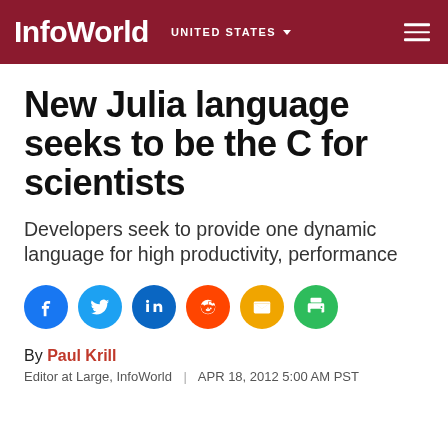InfoWorld | UNITED STATES
New Julia language seeks to be the C for scientists
Developers seek to provide one dynamic language for high productivity, performance
[Figure (infographic): Social sharing icons: Facebook, Twitter, LinkedIn, Reddit, Email, Print]
By Paul Krill
Editor at Large, InfoWorld | APR 18, 2012 5:00 AM PST